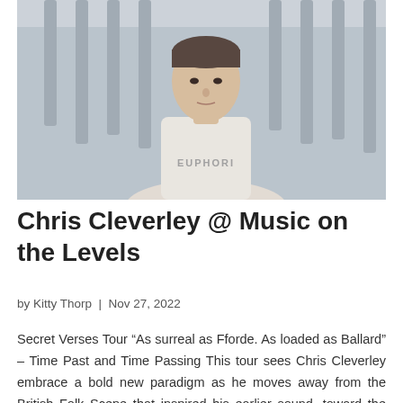[Figure (photo): A young man wearing a white t-shirt with 'EUPHORIA' text, standing in front of metal fence/railings, outdoor setting, natural light.]
Chris Cleverley @ Music on the Levels
by Kitty Thorp | Nov 27, 2022
Secret Verses Tour “As surreal as Fforde. As loaded as Ballard” – Time Past and Time Passing This tour sees Chris Cleverley embrace a bold new paradigm as he moves away from the British Folk Scene that inspired his earlier sound, toward the American Indie music